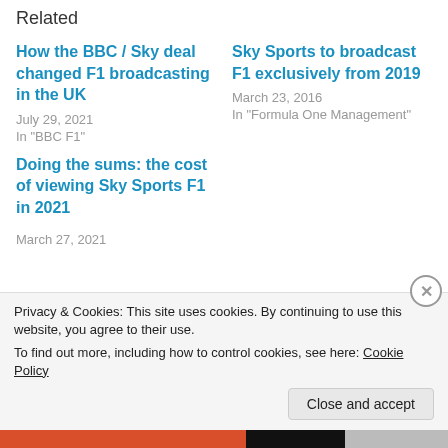Related
How the BBC / Sky deal changed F1 broadcasting in the UK
July 29, 2021
In "BBC F1"
Sky Sports to broadcast F1 exclusively from 2019
March 23, 2016
In "Formula One Management"
Doing the sums: the cost of viewing Sky Sports F1 in 2021
March 27, 2021
Privacy & Cookies: This site uses cookies. By continuing to use this website, you agree to their use.
To find out more, including how to control cookies, see here: Cookie Policy
Close and accept